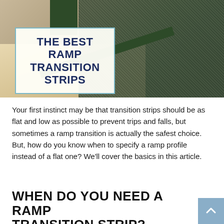[Figure (photo): Photo of a carpet-to-hard-floor transition with a green ramp strip, overlaid with a text box reading 'THE BEST RAMP TRANSITION STRIPS']
Your first instinct may be that transition strips should be as flat and low as possible to prevent trips and falls, but sometimes a ramp transition is actually the safest choice. But, how do you know when to specify a ramp profile instead of a flat one? We'll cover the basics in this article.
WHEN DO YOU NEED A RAMP TRANSITION STRIP?